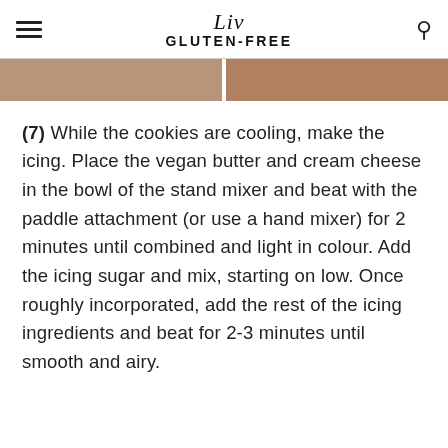Liv GLUTEN-FREE
[Figure (photo): Partial view of two cookie photos side by side, cropped at top of page]
(7) While the cookies are cooling, make the icing. Place the vegan butter and cream cheese in the bowl of the stand mixer and beat with the paddle attachment (or use a hand mixer) for 2 minutes until combined and light in colour. Add the icing sugar and mix, starting on low. Once roughly incorporated, add the rest of the icing ingredients and beat for 2-3 minutes until smooth and airy.